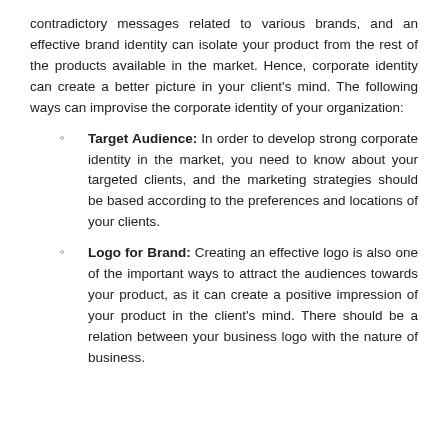contradictory messages related to various brands, and an effective brand identity can isolate your product from the rest of the products available in the market. Hence, corporate identity can create a better picture in your client's mind. The following ways can improvise the corporate identity of your organization:
Target Audience: In order to develop strong corporate identity in the market, you need to know about your targeted clients, and the marketing strategies should be based according to the preferences and locations of your clients.
Logo for Brand: Creating an effective logo is also one of the important ways to attract the audiences towards your product, as it can create a positive impression of your product in the client's mind. There should be a relation between your business logo with the nature of business.